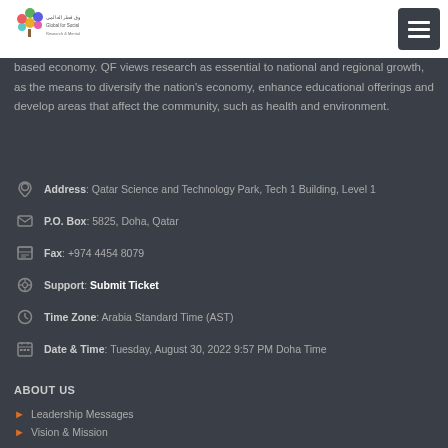[Figure (logo): Qatar Foundation / Global for Social Sciences Fund logo - colorful tree icon with Arabic and English text]
based economy. QF views research as essential to national and regional growth, as the means to diversify the nation's economy, enhance educational offerings and develop areas that affect the community, such as health and environment.
Address: Qatar Science and Technology Park, Tech 1 Building, Level 1
P.O. Box: 5825, Doha, Qatar
Fax: +974 4454 8079
Support: Submit Ticket
Time Zone: Arabia Standard Time (AST)
Date & Time: Tuesday, August 30, 2022 9:57 PM Doha Time
ABOUT US
Leadership Messages
Vision & Mission